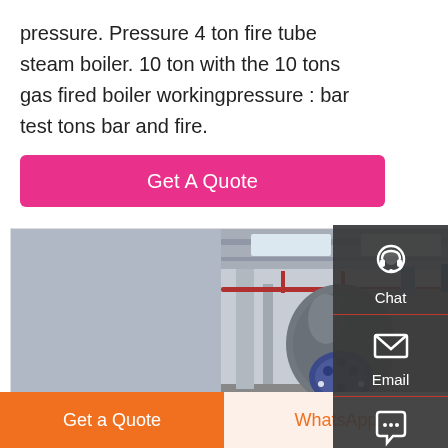pressure. Pressure 4 ton fire tube steam boiler. 10 ton with the 10 tons gas fired boiler workingpressure : bar test tons bar and fire.
[Figure (other): Pink 'Get A Quote' button with rounded corners on white background]
[Figure (photo): Industrial fire tube steam boiler in a factory setting, showing a large horizontal cylindrical stainless steel boiler with blue burner motor, yellow gas pipes on the right, red walkway railings above, and structural columns.]
[Figure (infographic): Dark side panel with Chat (headset icon), Email (envelope icon), and Contact (speech bubble icon) options]
[Figure (other): Bottom navigation bar with orange 'Get a Quote' button on left and light orange 'WhatsApp' text on right]